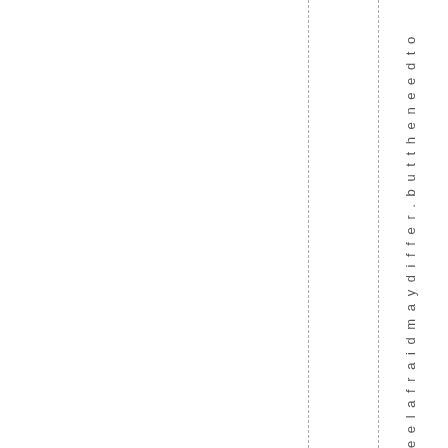e el afraid may differ. but the need t
[Figure (other): Two vertical dashed lines running the full height of the page, positioned in the right third of the page, serving as column or margin guides.]